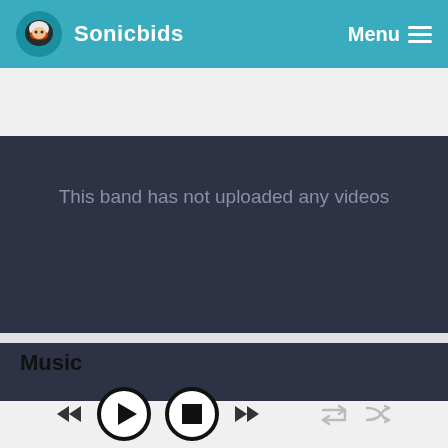Sonicbids  Menu
This band has not uploaded any videos
Music
[Figure (other): Music player controls: rewind, play button (circle), stop button (circle), fast-forward, repeat, shuffle icons]
00:00  02:29